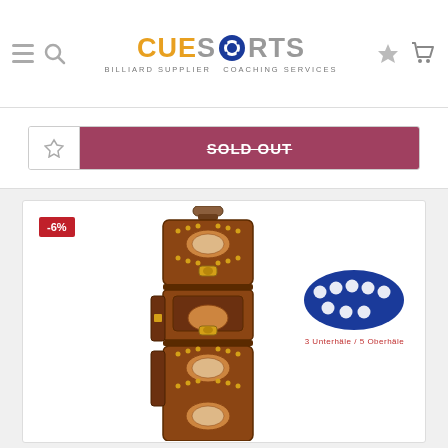[Figure (logo): CueSports logo with billiard ball graphic, subtitle: BILLIARD SUPPLIER COACHING SERVICES]
[Figure (screenshot): Sold Out button with wishlist icon, partially visible at top]
[Figure (photo): Ornate brown leather billiard cue case with decorative diamond patterns, studs, and metal clasps. Shown vertically. -6% discount badge. Capacity graphic showing 3 butts / 5 shafts.]